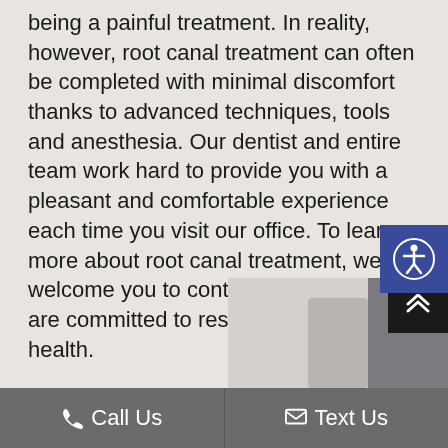being a painful treatment. In reality, however, root canal treatment can often be completed with minimal discomfort thanks to advanced techniques, tools and anesthesia. Our dentist and entire team work hard to provide you with a pleasant and comfortable experience each time you visit our office. To learn more about root canal treatment, we welcome you to contact us today. We are committed to restoring your smile's health.
[Figure (photo): Partial photo of a dental office or patient, bottom right corner of page]
Call Us   Text Us